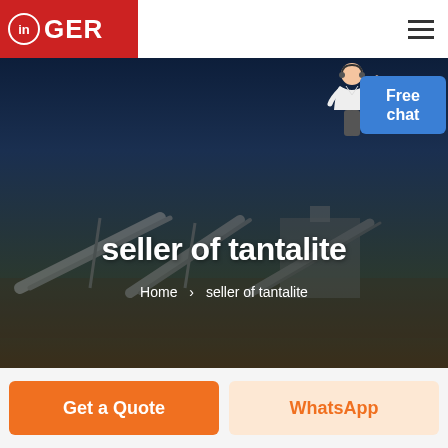GER
seller of tantalite
Home > seller of tantalite
[Figure (illustration): Free chat widget with customer service agent figure in white clothing, blue button labeled Free chat]
[Figure (photo): Industrial mining conveyor belt scene at dusk, dark blue/brown tones, serving as hero background]
Get a Quote
WhatsApp